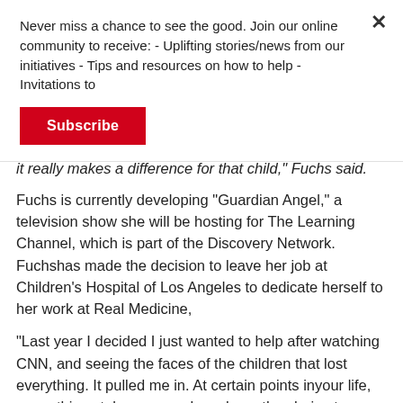Never miss a chance to see the good. Join our online community to receive: - Uplifting stories/news from our initiatives - Tips and resources on how to help - Invitations to
Subscribe
it really makes a difference for that child," Fuchs said.
Fuchs is currently developing “Guardian Angel,” a television show she will be hosting for The Learning Channel, which is part of the Discovery Network. Fuchshas made the decision to leave her job at Children’s Hospital of Los Angeles to dedicate herself to her work at Real Medicine,
“Last year I decided I just wanted to help after watching CNN, and seeing the faces of the children that lost everything. It pulled me in. At certain points inyour life, some things take over, and you have the choice to follow or not. I followed it. The organization has attracted really amazing people from all overthe world and there is now a tremendous rippling affect which has created a fantastic team to work with.”